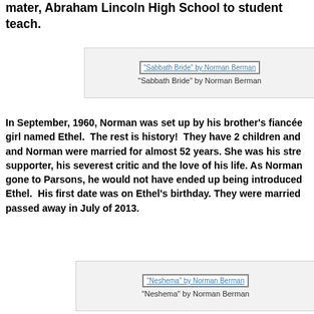mater, Abraham Lincoln High School to student teach.
[Figure (photo): Image placeholder for "Sabbath Bride" by Norman Berman with caption below]
"Sabbath Bride" by Norman Berman
In September, 1960, Norman was set up by his brother's fiancée girl named Ethel. The rest is history! They have 2 children and Norman were married for almost 52 years. She was his strongest supporter, his severest critic and the love of his life. As Norman gone to Parsons, he would not have ended up being introduced to Ethel. His first date was on Ethel's birthday. They were married passed away in July of 2013.
[Figure (photo): Image placeholder for "Neshema" by Norman Berman with caption below]
"Neshema" by Norman Berman